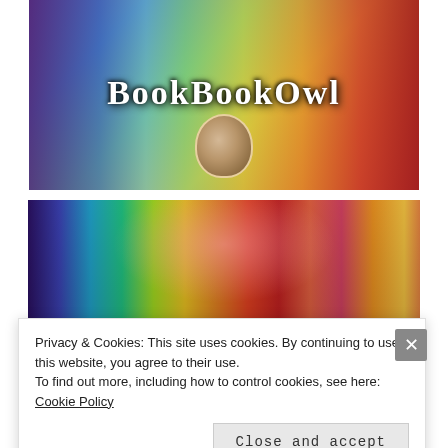[Figure (photo): BookBookOwl website logo/banner showing colorful bookshelves with an owl mascot wearing a unicorn hat, with decorative swirls and the text 'BookBookOwl' in ornate lettering]
[Figure (photo): Photo of colorful bookshelves arranged in rainbow order with a pink rose decoration in the center]
Privacy & Cookies: This site uses cookies. By continuing to use this website, you agree to their use.
To find out more, including how to control cookies, see here: Cookie Policy
Close and accept